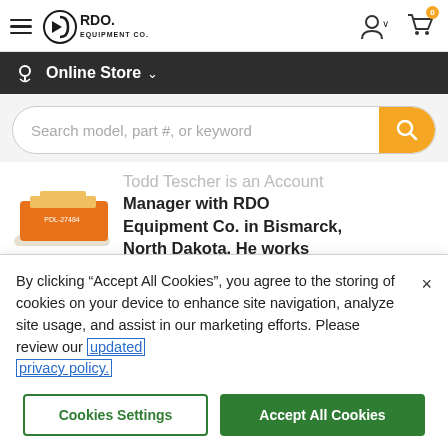[Figure (logo): RDO Equipment Co. logo with hamburger menu icon on the left and user account and cart icons on the right]
[Figure (screenshot): Dark navigation bar with location pin icon and 'Online Store' dropdown]
[Figure (screenshot): Search bar with placeholder text 'Search model, part #, or keyword' and yellow search button]
Todd Tescher is an Account Manager with RDO Equipment Co. in Bismarck, North Dakota. He works
By clicking “Accept All Cookies”, you agree to the storing of cookies on your device to enhance site navigation, analyze site usage, and assist in our marketing efforts. Please review our updated privacy policy.